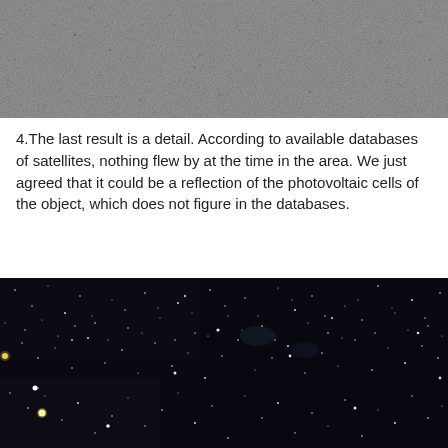[Figure (photo): Grayscale image of a noisy/grainy sky or surface texture, appearing as a speckled gray field]
4.The last result is a detail. According to available databases of satellites, nothing flew by at the time in the area. We just agreed that it could be a reflection of the photovoltaic cells of the object, which does not figure in the databases.
[Figure (photo): Color astronomical image showing a dense star field against a dark background, with numerous white and faintly colored stars of varying brightness]